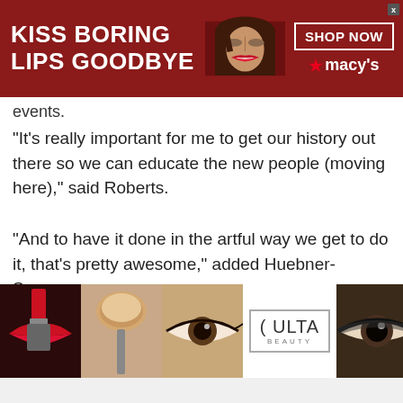[Figure (screenshot): Top advertisement banner: dark red background with text 'KISS BORING LIPS GOODBYE', a woman's face with red lips in the center, and 'SHOP NOW' button with Macy's star logo on the right.]
events.
“It’s really important for me to get our history out there so we can educate the new people (moving here),” said Roberts.
“And to have it done in the artful way we get to do it, that’s pretty awesome,” added Huebner-Sannes.
For those wishing to donate to the murals, checks can be written to the Cottage Grove Historical
[Figure (screenshot): Bottom advertisement banner: dark background with four makeup-themed photo thumbnails, a white Ulta Beauty logo section in the center, and 'SHOP NOW' text on the right with a close button.]